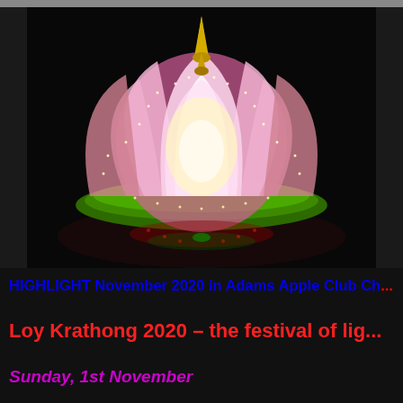[Figure (photo): A large illuminated lotus flower krathong floating on dark water at night, glowing pink and white petals with gold decorative lights, reflected in the water below. Dark background.]
HIGHLIGHT November 2020 in Adams Apple Club Ch...
Loy Krathong 2020 – the festival of lig...
Sunday, 1st November